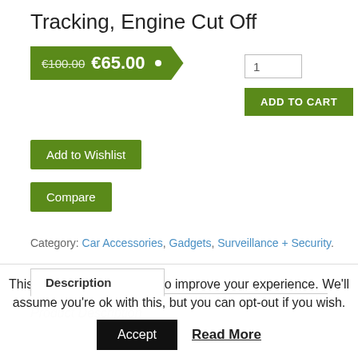Tracking, Engine Cut Off
€100.00 €65.00 •
1
ADD TO CART
Add to Wishlist
Compare
Category: Car Accessories, Gadgets, Surveillance + Security.
Description
Product Description
This website uses cookies to improve your experience. We'll assume you're ok with this, but you can opt-out if you wish.
Accept  Read More